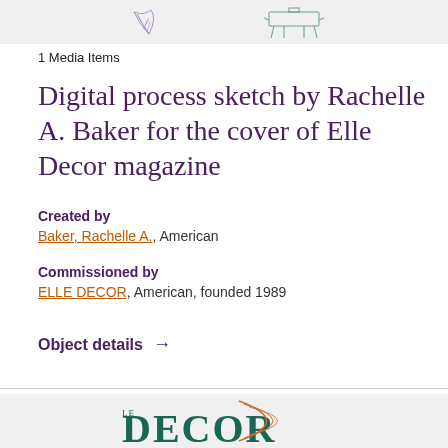[Figure (illustration): Top banner with two digital process sketches on a light gray background — a feather/leaf sketch on the left and a furniture/chair sketch on the right]
1 Media Items
Digital process sketch by Rachelle A. Baker for the cover of Elle Decor magazine
Created by
Baker, Rachelle A., American
Commissioned by
ELLE DECOR, American, founded 1989
Object details →
[Figure (logo): ELLE DECOR magazine logo in dark teal/green with orange decorative elements, partially visible at the bottom of the page]